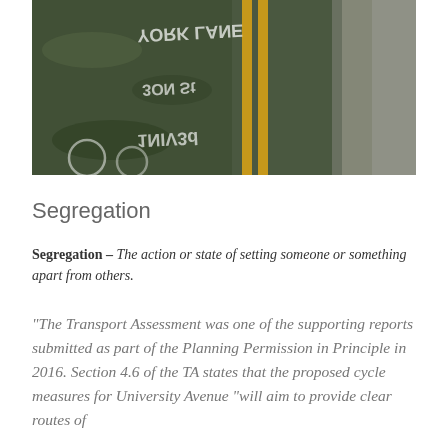[Figure (photo): Aerial/overhead view of a road surface with yellow double lines and white painted text markings, showing worn asphalt pavement from above]
Segregation
Segregation – The action or state of setting someone or something apart from others.
“The Transport Assessment was one of the supporting reports submitted as part of the Planning Permission in Principle in 2016. Section 4.6 of the TA states that the proposed cycle measures for University Avenue “will aim to provide clear routes of